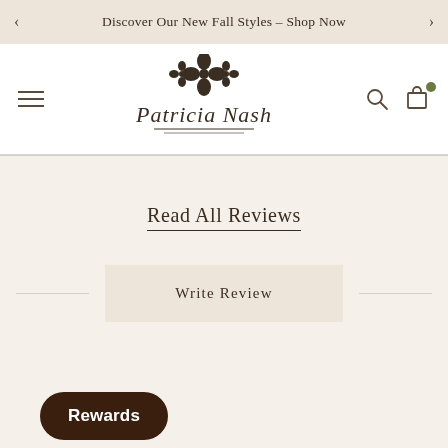Discover Our New Fall Styles – Shop Now
[Figure (logo): Patricia Nash brand logo with floral motif and cursive script]
Read All Reviews
Write Review
Rewards